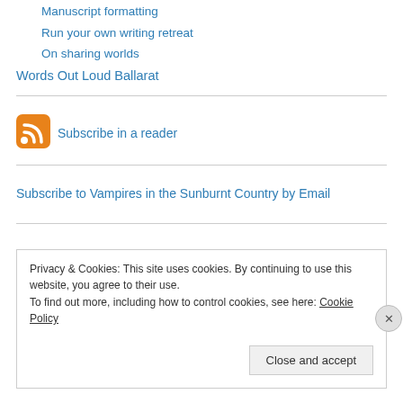Manuscript formatting
Run your own writing retreat
On sharing worlds
Words Out Loud Ballarat
[Figure (logo): RSS feed icon - orange rounded square with white RSS signal waves]
Subscribe in a reader
Subscribe to Vampires in the Sunburnt Country by Email
Privacy & Cookies: This site uses cookies. By continuing to use this website, you agree to their use.
To find out more, including how to control cookies, see here: Cookie Policy
Close and accept